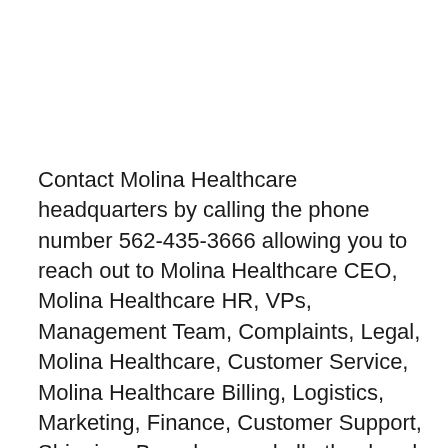Contact Molina Healthcare headquarters by calling the phone number 562-435-3666 allowing you to reach out to Molina Healthcare CEO, Molina Healthcare HR, VPs, Management Team, Complaints, Legal, Molina Healthcare, Customer Service, Molina Healthcare Billing, Logistics, Marketing, Finance, Customer Support, Shipping, Brunches, and all other head office departments